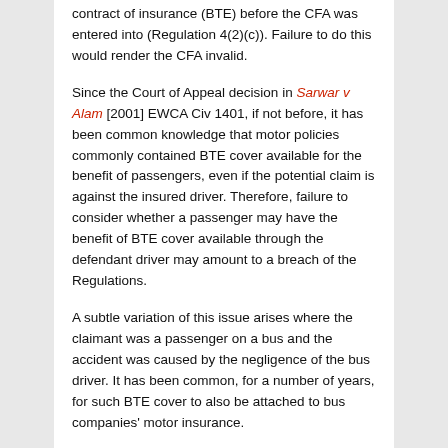contract of insurance (BTE) before the CFA was entered into (Regulation 4(2)(c)). Failure to do this would render the CFA invalid.
Since the Court of Appeal decision in Sarwar v Alam [2001] EWCA Civ 1401, if not before, it has been common knowledge that motor policies commonly contained BTE cover available for the benefit of passengers, even if the potential claim is against the insured driver. Therefore, failure to consider whether a passenger may have the benefit of BTE cover available through the defendant driver may amount to a breach of the Regulations.
A subtle variation of this issue arises where the claimant was a passenger on a bus and the accident was caused by the negligence of the bus driver. It has been common, for a number of years, for such BTE cover to also be attached to bus companies' motor insurance.
There have now been a number of decisions covering this issue and exploring whether a failure to make appropriate